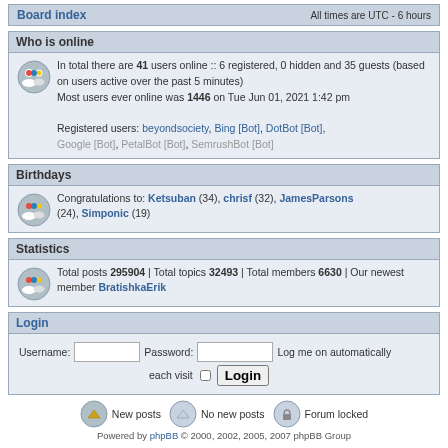Board index    All times are UTC - 6 hours
Who is online
In total there are 41 users online :: 6 registered, 0 hidden and 35 guests (based on users active over the past 5 minutes)
Most users ever online was 1446 on Tue Jun 01, 2021 1:42 pm
Registered users: beyondsociety, Bing [Bot], DotBot [Bot], Google [Bot], PetalBot [Bot], SemrushBot [Bot]
Birthdays
Congratulations to: Ketsuban (34), chrisf (32), JamesParsons (24), Simponic (19)
Statistics
Total posts 295904 | Total topics 32493 | Total members 6630 | Our newest member BratishkaErik
Login
Username:  Password:  Log me on automatically each visit  Login
New posts   No new posts   Forum locked
Powered by phpBB © 2000, 2002, 2005, 2007 phpBB Group